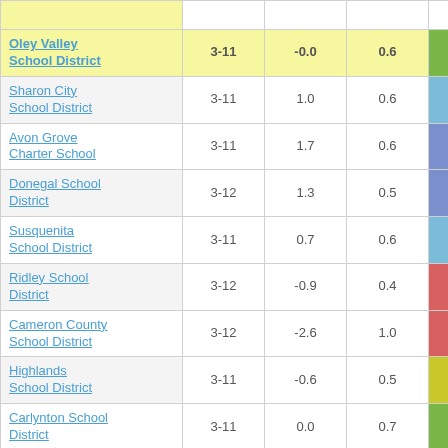| School District | Grades | Col3 | Col4 | Score |
| --- | --- | --- | --- | --- |
| Oley Valley School District | 3-11 | -0.0 | 0.6 | -0.04 |
| Sharon City School District | 3-11 | 1.0 | 0.6 | 1.83 |
| Avon Grove Charter School | 3-11 | 1.7 | 0.6 | 2.84 |
| Donegal School District | 3-12 | 1.3 | 0.5 | 2.73 |
| Susquenita School District | 3-11 | 0.7 | 0.6 | 1.21 |
| Ridley School District | 3-12 | -0.9 | 0.4 | -2.39 |
| Cameron County School District | 3-12 | -2.6 | 1.0 | -2.51 |
| Highlands School District | 3-11 | -0.6 | 0.5 | -1.09 |
| Carlynton School District | 3-11 | 0.0 | 0.7 | 0.06 |